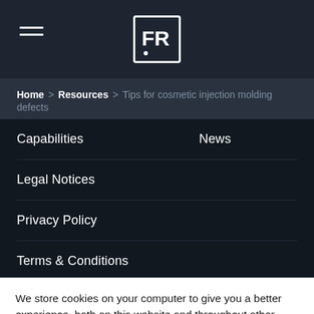FR logo / hamburger menu
Home > Resources > Tips for cosmetic injection molding defects
Capabilities
News
Legal Notices
Privacy Policy
Terms & Conditions
We store cookies on your computer to give you a better experience, both on this website and throughout other media. By using this website, you consent to the cookies we use and our Privacy Policy.
Opt-Out.
Cookie settings | ACCEPT